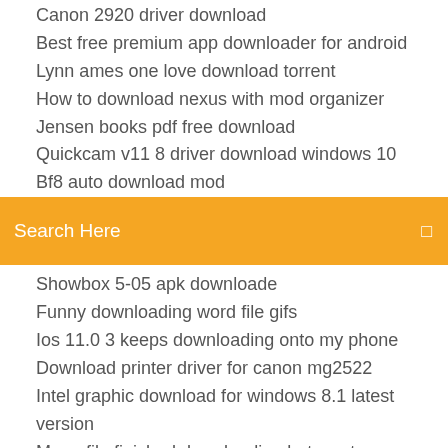Canon 2920 driver download
Best free premium app downloader for android
Lynn ames one love download torrent
How to download nexus with mod organizer
Jensen books pdf free download
Quickcam v11 8 driver download windows 10
Bf8 auto download mod
Search Here
Showbox 5-05 apk downloade
Funny downloading word file gifs
Ios 11.0 3 keeps downloading onto my phone
Download printer driver for canon mg2522
Intel graphic download for windows 8.1 latest version
Mega file finished downloading but wont
Download minecraft for free pc 2019
History of philosophy pdf free download
Free download man leads woman follows pdf
Download file of facebook page